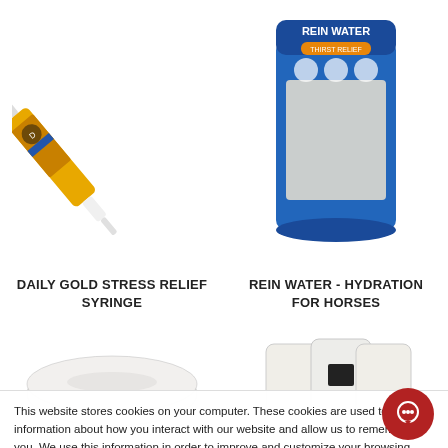[Figure (photo): Product image: Daily Gold Stress Relief Syringe - a yellow/gold syringe with black label, shown at an angle]
[Figure (photo): Product image: Rein Water - Hydration For Horses - a blue stand-up pouch bag with white powder]
DAILY GOLD STRESS RELIEF SYRINGE
REIN WATER - HYDRATION FOR HORSES
[Figure (photo): Partial product image bottom left - white flat rectangular product]
[Figure (photo): Partial product image bottom right - white pillow/pouch style products grouped]
This website stores cookies on your computer. These cookies are used to collect information about how you interact with our website and allow us to remember you. We use this information in order to improve and customize your browsing experience and for analytics and metrics about our visitors both on this website and other media. To find out more about the cookies we use, see our Privacy Policy.
Accept